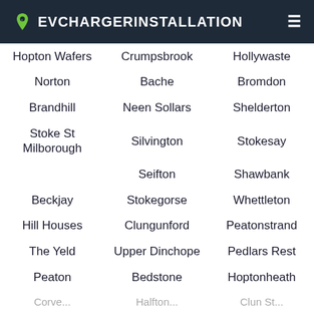EVCHARGERINSTALLATION
Hopton Wafers
Crumpsbrook
Hollywaste
Norton
Bache
Bromdon
Brandhill
Neen Sollars
Shelderton
Stoke St Milborough
Silvington
Stokesay
Seifton
Shawbank
Beckjay
Stokegorse
Whettleton
Hill Houses
Clungunford
Peatonstrand
The Yeld
Upper Dinchope
Pedlars Rest
Peaton
Bedstone
Hoptonheath